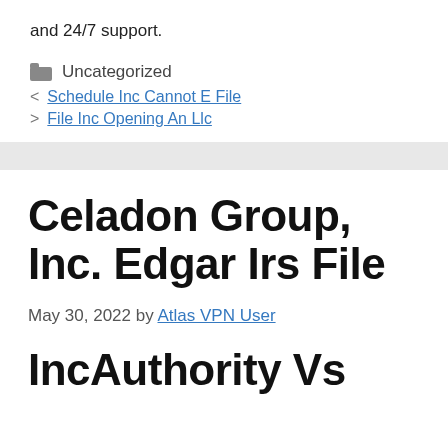and 24/7 support.
Uncategorized
< Schedule Inc Cannot E File
> File Inc Opening An Llc
Celadon Group, Inc. Edgar Irs File
May 30, 2022 by Atlas VPN User
IncAuthority Vs